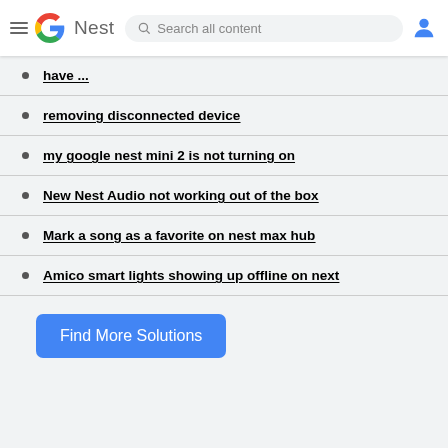Google Nest — Search all content
have ...
removing disconnected device
my google nest mini 2 is not turning on
New Nest Audio not working out of the box
Mark a song as a favorite on nest max hub
Amico smart lights showing up offline on next
Find More Solutions